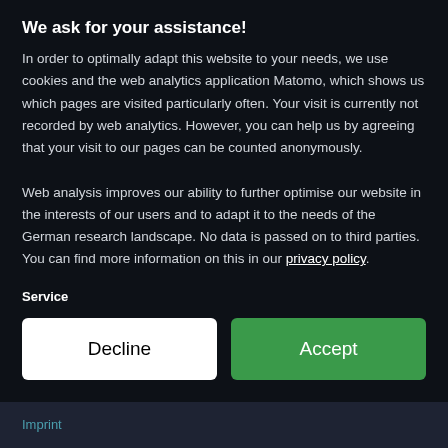Dr Randika Jayasinghe has completed her PhD in Environmental Engineering with a focus on Environmental Technology at the University of Western Australia. She received the Green Talents award in 2018
Competition Alert
We ask for your assistance!
In order to optimally adapt this website to your needs, we use cookies and the web analytics application Matomo, which shows us which pages are visited particularly often. Your visit is currently not recorded by web analytics. However, you can help us by agreeing that your visit to our pages can be counted anonymously.
Web analysis improves our ability to further optimise our website in the interests of our users and to adapt it to the needs of the German research landscape. No data is passed on to third parties. You can find more information on this in our privacy policy.
Service
Decline
Accept
Imprint